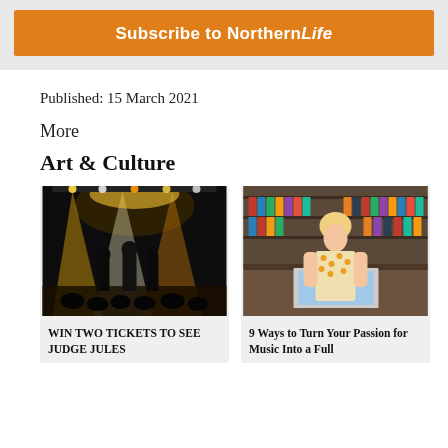Subscribe to NorthernLife
Published: 15 March 2021
More
Art & Culture
[Figure (photo): Concert scene with performers on stage under yellow and white stage lights in a dark venue]
WIN TWO TICKETS TO SEE JUDGE JULES
[Figure (photo): A young woman in a floral shirt browsing vinyl records at a record shop counter with shelves of records behind her]
9 Ways to Turn Your Passion for Music Into a Full